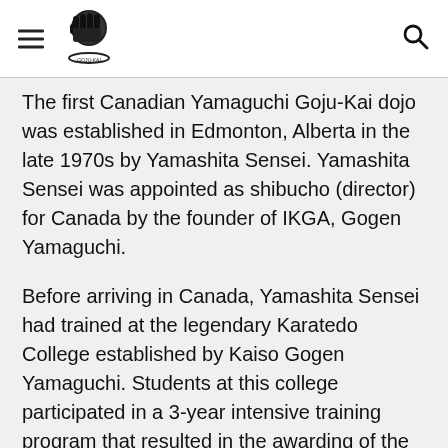Navigation header with hamburger menu, logo, and search icon
The first Canadian Yamaguchi Goju-Kai dojo was established in Edmonton, Alberta in the late 1970s by Yamashita Sensei. Yamashita Sensei was appointed as shibucho (director) for Canada by the founder of IKGA, Gogen Yamaguchi.
Before arriving in Canada, Yamashita Sensei had trained at the legendary Karatedo College established by Kaiso Gogen Yamaguchi. Students at this college participated in a 3-year intensive training program that resulted in the awarding of the I.K.G.A. Sandan - 3rd degree black belt. Many graduates of this college later became Chief Instructor of their